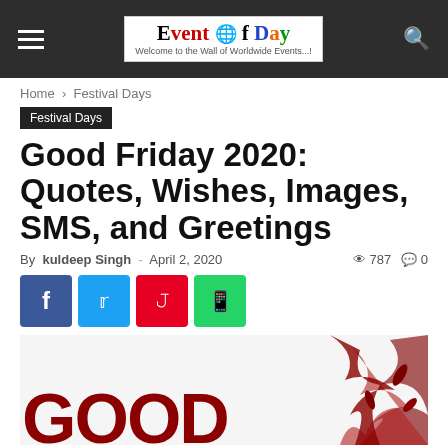Event Of Day — Welcome to the Wall of Worldwide Events...!
Home › Festival Days
Festival Days
Good Friday 2020: Quotes, Wishes, Images, SMS, and Greetings
By kuldeep Singh - April 2, 2020  787  0
[Figure (screenshot): Social share buttons: Facebook, Twitter, Pinterest, WhatsApp]
[Figure (photo): Partial image showing 'GOOD' text in dark red at bottom left and crown of thorns on right side against white background — beginning of article hero image]